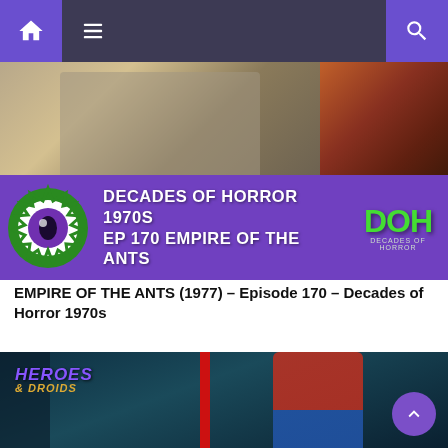Navigation bar with home, menu, and search icons
[Figure (photo): Decades of Horror 1970s podcast banner — Episode 170 Empire of the Ants. Purple banner with monster eye logo, white horror-font text, and green DOH logo on the right. Background shows movie imagery.]
EMPIRE OF THE ANTS (1977) – Episode 170 – Decades of Horror 1970s
[Figure (photo): Heroes & Droids branded image showing a man in a red and blue outfit smiling and pointing at the camera, with teal/blue background and a vertical red stripe.]